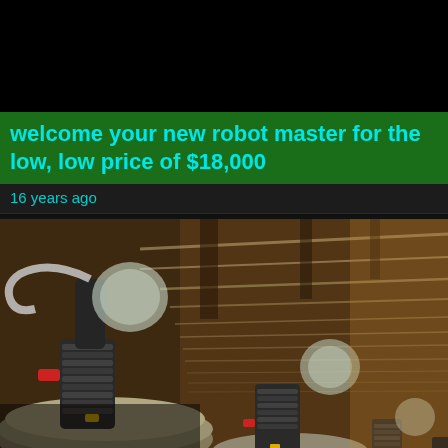welcome your new robot master for the low, low price of $18,000
16 years ago
[Figure (photo): A row of robot machines photographed from below, showing mechanical discs, coiled hoses, chrome/brass hardware, and light bulbs, set against a warehouse ceiling with wooden beams and white pipes stretching into the distance.]